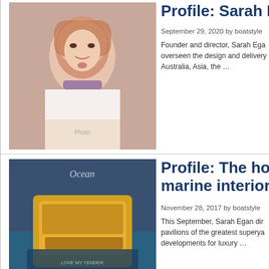[Figure (photo): Headshot photo of Sarah Egan, a woman with reddish-brown hair]
Profile: Sarah Ega
September 29, 2020 by boatstyle
Founder and director, Sarah Ega overseen the design and delivery Australia, Asia, the …
[Figure (photo): Ocean magazine cover showing a yellow superyacht on water with text 'LOVE MY TENDER']
Profile: The hottes marine interiors.
November 28, 2017 by boatstyle
This September, Sarah Egan dir pavilions of the greatest superya developments for luxury …
[Figure (photo): Side view of a large white luxury yacht (Princess 4) on water]
Profile: Princess 4 Preparing for her S
February 10, 2012 by ss
Combining an impressive gross t luxury yacht Imperial Princess w well-appointed cabins for …
LiveYachting is a wiki type website where superyacht profe
Do you have something to show or say? | Terms of Service | Privacy P